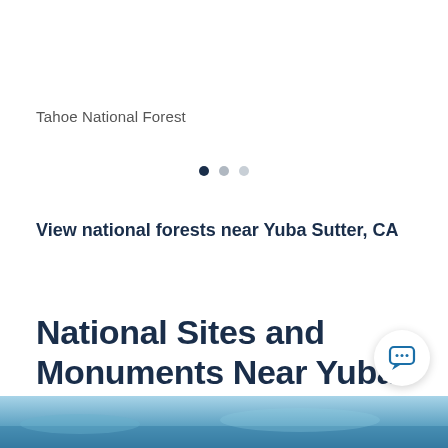Tahoe National Forest
[Figure (other): Pagination dots: one dark filled circle and two lighter circles indicating a carousel position indicator]
View national forests near Yuba Sutter, CA
National Sites and Monuments Near Yuba Sutter, CA
[Figure (photo): Partial photo strip at bottom showing a blue sky and landscape scene near Yuba Sutter, CA]
[Figure (other): Chat button icon — circular white button with a speech bubble icon in blue]